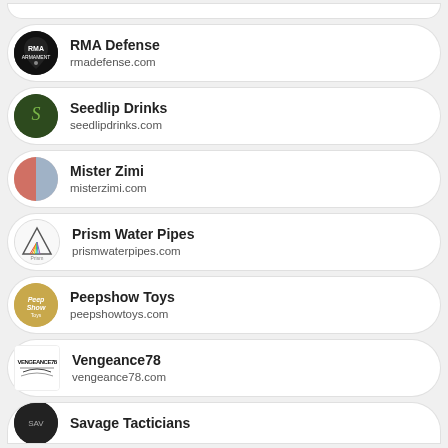RMA Defense
rmadefense.com
Seedlip Drinks
seedlipdrinks.com
Mister Zimi
misterzimi.com
Prism Water Pipes
prismwaterpipes.com
Peepshow Toys
peepshowtoys.com
Vengeance78
vengeance78.com
Savage Tacticians